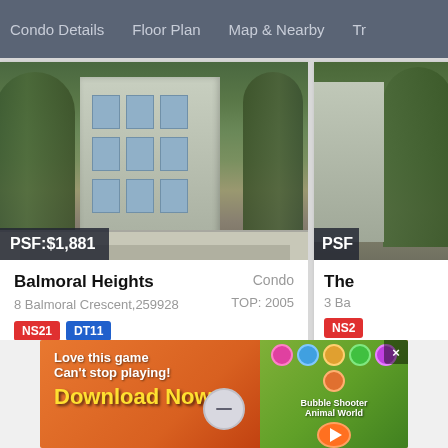Condo Details   Floor Plan   Map & Nearby   Tr
[Figure (screenshot): Photo of Balmoral Heights condo building exterior with PSF:$1,881 badge]
PSF:$1,881
Balmoral Heights
Condo
8 Balmoral Crescent,259928
TOP: 2005
NS21
DT11
[Figure (screenshot): Partial photo of second condo (The ...) with PSF badge and NS2 tag, partially visible on right edge]
The
3 Ba
NS2
About Us
[Figure (infographic): Advertisement banner: Love this game Can't stop playing! Download Now - Bubble Shooter Animal World]